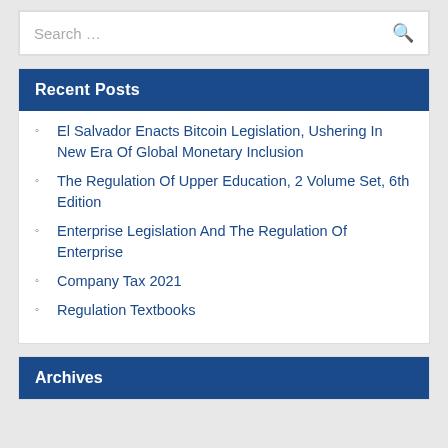Search …
Recent Posts
El Salvador Enacts Bitcoin Legislation, Ushering In New Era Of Global Monetary Inclusion
The Regulation Of Upper Education, 2 Volume Set, 6th Edition
Enterprise Legislation And The Regulation Of Enterprise
Company Tax 2021
Regulation Textbooks
Archives